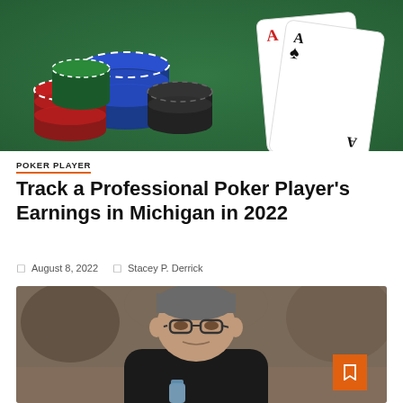[Figure (photo): Poker chips stacked on a green felt table with playing cards (Ace of diamonds and Ace of clubs) fanned out in the background.]
POKER PLAYER
Track a Professional Poker Player's Earnings in Michigan in 2022
August 8, 2022   Stacey P. Derrick
[Figure (photo): A middle-aged man with glasses and short grey hair wearing a black t-shirt, seated at a poker table in a casino tournament setting. A '2 min read' badge overlays the top-left corner, and an orange bookmark button is in the bottom-right corner.]